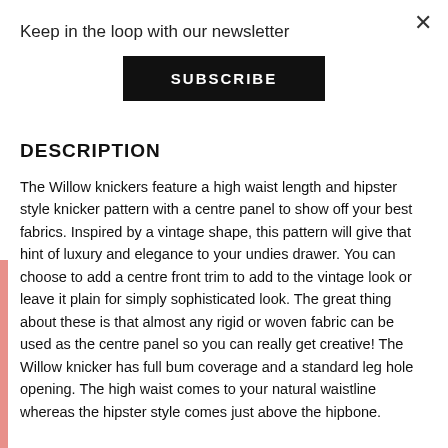Keep in the loop with our newsletter
SUBSCRIBE
DESCRIPTION
The Willow knickers feature a high waist length and hipster style knicker pattern with a centre panel to show off your best fabrics. Inspired by a vintage shape, this pattern will give that hint of luxury and elegance to your undies drawer. You can choose to add a centre front trim to add to the vintage look or leave it plain for simply sophisticated look. The great thing about these is that almost any rigid or woven fabric can be used as the centre panel so you can really get creative! The Willow knicker has full bum coverage and a standard leg hole opening. The high waist comes to your natural waistline whereas the hipster style comes just above the hipbone.